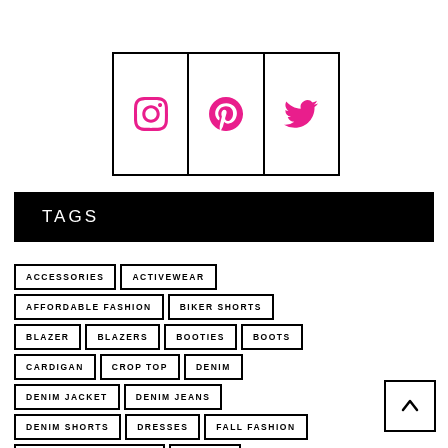[Figure (other): Three social media icons (Instagram, Pinterest, Twitter) in hot pink, displayed in a row of bordered cells]
TAGS
ACCESSORIES
ACTIVEWEAR
AFFORDABLE FASHION
BIKER SHORTS
BLAZER
BLAZERS
BOOTIES
BOOTS
CARDIGAN
CROP TOP
DENIM
DENIM JACKET
DENIM JEANS
DENIM SHORTS
DRESSES
FALL FASHION
FALL FASHION TRENDS
FASHION